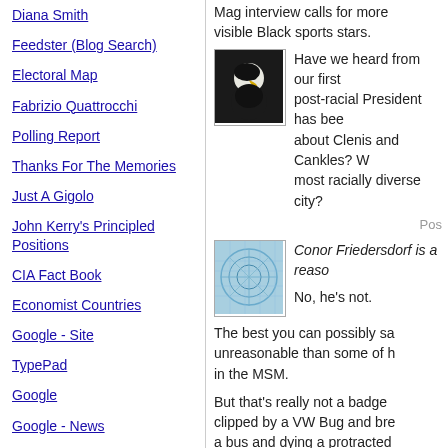Diana Smith
Feedster (Blog Search)
Electoral Map
Fabrizio Quattrocchi
Polling Report
Thanks For The Memories
Just A Gigolo
John Kerry's Principled Positions
CIA Fact Book
Economist Countries
Google - Site
TypePad
Google
Google - News
FEC Spy
Only Time
Iowa Elec. Markets
White House Press
Mag interview calls for more visible Black sports stars.
[Figure (photo): Photo of a bald eagle head, close-up, dark background]
Have we heard from our first post-racial President has been about Clenis and Cankles? W most racially diverse city?
Pos
[Figure (photo): Abstract blue patterned thumbnail image]
Conor Friedersdorf is a reaso
No, he's not.
The best you can possibly sa unreasonable than some of h in the MSM.
But that's really not a badge clipped by a VW Bug and bre a bus and dying a protracted the broken leg. That still does